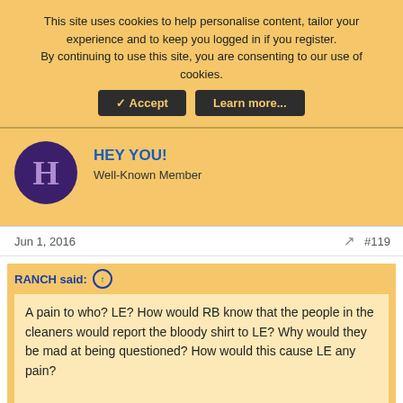This site uses cookies to help personalise content, tailor your experience and to keep you logged in if you register.
By continuing to use this site, you are consenting to our use of cookies.
Accept  Learn more...
HEY YOU!
Well-Known Member
Jun 1, 2016
#119
RANCH said: ↑
A pain to who? LE? How would RB know that the people in the cleaners would report the bloody shirt to LE? Why would they be mad at being questioned? How would this cause LE any pain?

I'm not buying this theory.
[Figure (screenshot): Advertisement for Boost Mobile showing in-store shopping, in-store pickup (checked), and Delivery (crossed out), with a blue navigation arrow diamond icon]